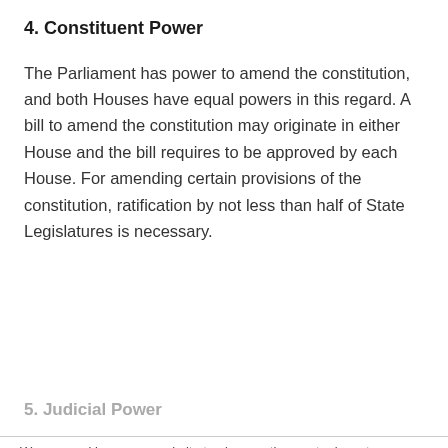4. Constituent Power
The Parliament has power to amend the constitution, and both Houses have equal powers in this regard. A bill to amend the constitution may originate in either House and the bill requires to be approved by each House. For amending certain provisions of the constitution, ratification by not less than half of State Legislatures is necessary.
5. Judicial Power
We use cookies on our website to give you the most relevant experience by remembering your preferences and repeat visits. By clicking “Accept”, you consent to the use of ALL the cookies.
Do not sell my personal information.
[Figure (illustration): Advertisement showing a cartoon person in blue shirt with text about Early Signs Of Multiple Sclerosis (MS). Close button (x) in top right corner. MS | Search Ads | Sponsored label.]
Early Signs Of Multiple Sclerosis (MS) Many May Not Want To Miss
MS | Search Ads | Sponsored